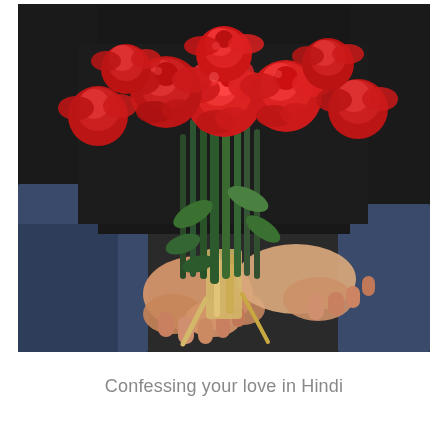[Figure (photo): A person holding a bouquet of red roses with both hands against a dark background, with green stems and a gold ribbon. The roses are vivid red and in full bloom.]
Confessing your love in Hindi